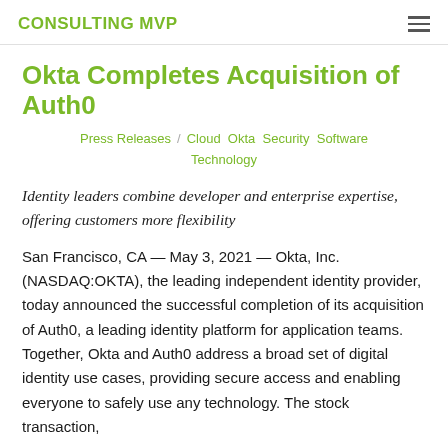CONSULTING MVP
Okta Completes Acquisition of Auth0
Press Releases / Cloud Okta Security Software Technology
Identity leaders combine developer and enterprise expertise, offering customers more flexibility
San Francisco, CA — May 3, 2021 — Okta, Inc. (NASDAQ:OKTA), the leading independent identity provider, today announced the successful completion of its acquisition of Auth0, a leading identity platform for application teams. Together, Okta and Auth0 address a broad set of digital identity use cases, providing secure access and enabling everyone to safely use any technology. The stock transaction,